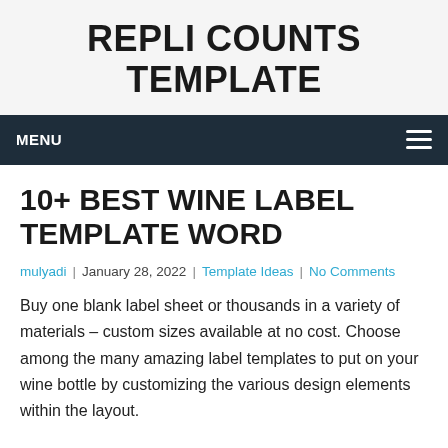REPLI COUNTS TEMPLATE
MENU
10+ BEST WINE LABEL TEMPLATE WORD
mulyadi | January 28, 2022 | Template Ideas | No Comments
Buy one blank label sheet or thousands in a variety of materials – custom sizes available at no cost. Choose among the many amazing label templates to put on your wine bottle by customizing the various design elements within the layout.
[Figure (illustration): Black and white decorative illustration showing wine bottle label design elements with ornate border/flourish shapes at the bottom of the page]